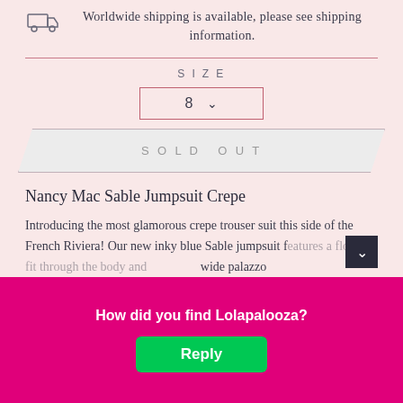Worldwide shipping is available, please see shipping information.
SIZE
8
SOLD OUT
Nancy Mac Sable Jumpsuit Crepe
Introducing the most glamorous crepe trouser suit this side of the French Riviera! Our new inky blue Sable jumpsuit features a flowing fit through the body and wide palazzo
The cre bulous.
How did you find Lolapalooza?
Reply